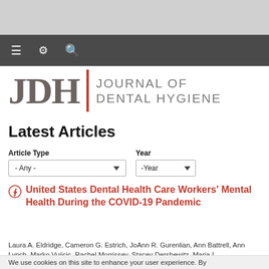[Figure (screenshot): Browser chrome top gray area]
≡  ⚙  🔍
[Figure (logo): JDH | JOURNAL OF DENTAL HYGIENE logo with red vertical divider]
Latest Articles
Article Type
- Any -

Year
-Year
United States Dental Health Care Workers' Mental Health During the COVID-19 Pandemic
Laura A. Eldridge, Cameron G. Estrich, JoAnn R. Gurenlian, Ann Battrell, Ann Lynch, Marko Vujicic, Rachel Morrissey, Stacey Dershewitz, Maria I.
We use cookies on this site to enhance your user experience. By